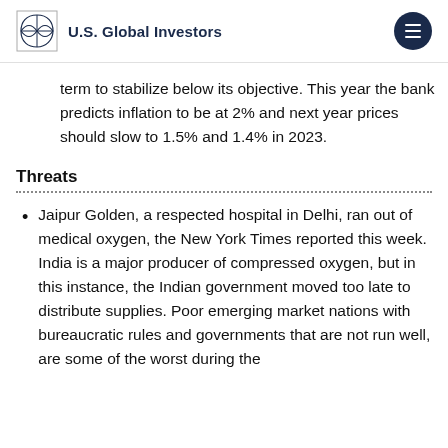U.S. Global Investors
term to stabilize below its objective. This year the bank predicts inflation to be at 2% and next year prices should slow to 1.5% and 1.4% in 2023.
Threats
Jaipur Golden, a respected hospital in Delhi, ran out of medical oxygen, the New York Times reported this week. India is a major producer of compressed oxygen, but in this instance, the Indian government moved too late to distribute supplies. Poor emerging market nations with bureaucratic rules and governments that are not run well, are some of the worst during the